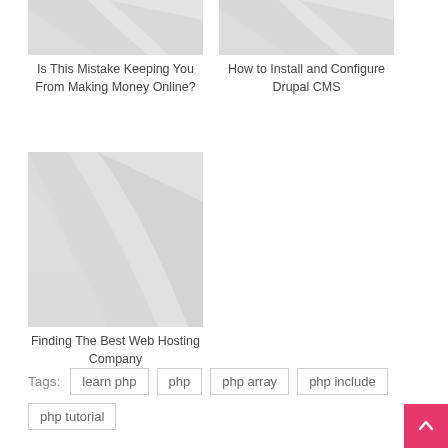[Figure (illustration): Placeholder image with grey diagonal sweep pattern for 'Is This Mistake Keeping You From Making Money Online?']
Is This Mistake Keeping You From Making Money Online?
[Figure (illustration): Placeholder image with grey diagonal sweep pattern for 'How to Install and Configure Drupal CMS']
How to Install and Configure Drupal CMS
[Figure (illustration): Placeholder image with grey diagonal sweep pattern for 'Finding The Best Web Hosting Company']
Finding The Best Web Hosting Company
Tags: learn php   php   php array   php include   php tutorial